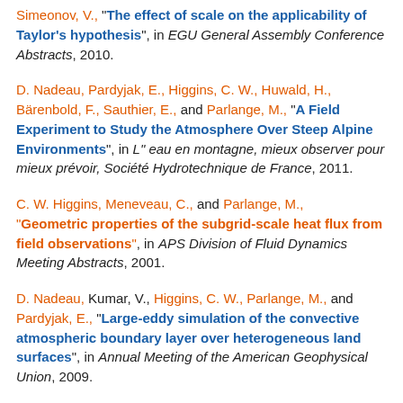Simeonov, V., "The effect of scale on the applicability of Taylor's hypothesis", in EGU General Assembly Conference Abstracts, 2010.
D. Nadeau, Pardyjak, E., Higgins, C. W., Huwald, H., Bärenbold, F., Sauthier, E., and Parlange, M., "A Field Experiment to Study the Atmosphere Over Steep Alpine Environments", in L" eau en montagne, mieux observer pour mieux prévoir, Société Hydrotechnique de France, 2011.
C. W. Higgins, Meneveau, C., and Parlange, M., "Geometric properties of the subgrid-scale heat flux from field observations", in APS Division of Fluid Dynamics Meeting Abstracts, 2001.
D. Nadeau, Kumar, V., Higgins, C. W., Parlange, M., and Pardyjak, E., "Large-eddy simulation of the convective atmospheric boundary layer over heterogeneous land surfaces", in Annual Meeting of the American Geophysical Union, 2009.